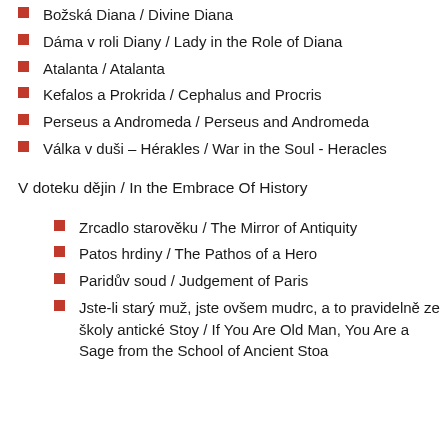Božská Diana / Divine Diana
Dáma v roli Diany / Lady in the Role of Diana
Atalanta / Atalanta
Kefalos a Prokrida / Cephalus and Procris
Perseus a Andromeda / Perseus and Andromeda
Válka v duši – Hérakles / War in the Soul - Heracles
V doteku dějin / In the Embrace Of History
Zrcadlo starověku / The Mirror of Antiquity
Patos hrdiny / The Pathos of a Hero
Paridův soud / Judgement of Paris
Jste-li starý muž, jste ovšem mudrc, a to pravidelně ze školy antické Stoy / If You Are Old Man, You Are a Sage from the School of Ancient Stoa